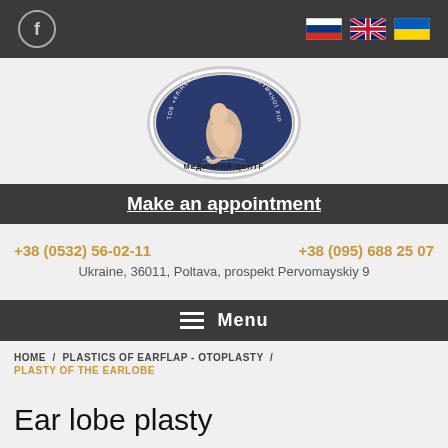[Figure (logo): Facebook icon circle in top navigation bar]
[Figure (logo): Russian, English, Ukrainian flag icons for language selection]
[Figure (logo): Clinic logo oval: TOV Klinika Plastychnoi Kosmetychnoi Khirurgii, Medychnyi Tsentr, with figure illustration]
Make an appointment
+38 (0532) 56-02-11
+38 (095) 688 25 07
Ukraine, 36011, Poltava, prospekt Pervomayskiy 9
Menu
HOME / PLASTICS OF EARFLAP - OTOPLASTY / PLASTY OF THE EARLOBE
Ear lobe plasty